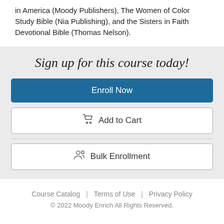in America (Moody Publishers), The Women of Color Study Bible (Nia Publishing), and the Sisters in Faith Devotional Bible (Thomas Nelson).
Sign up for this course today!
Enroll Now
Add to Cart
Bulk Enrollment
Course Catalog | Terms of Use | Privacy Policy
© 2022 Moody Enrich All Rights Reserved.